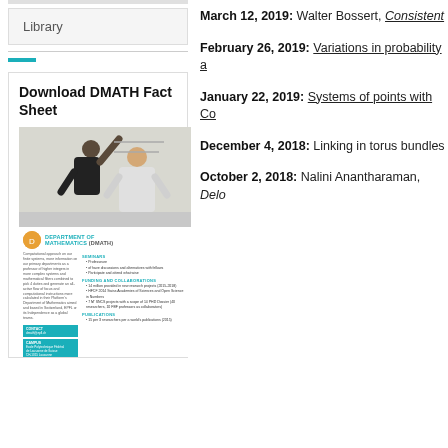Library
Download DMATH Fact Sheet
[Figure (photo): DMATH Department fact sheet brochure showing two people writing on a whiteboard at top, and brochure content with DEPARTMENT OF MATHEMATICS (DMATH) heading below]
March 12, 2019: Walter Bossert, Consistent
February 26, 2019: Variations in probability a
January 22, 2019: Systems of points with Co
December 4, 2018: Linking in torus bundles
October 2, 2018: Nalini Anantharaman, Delo